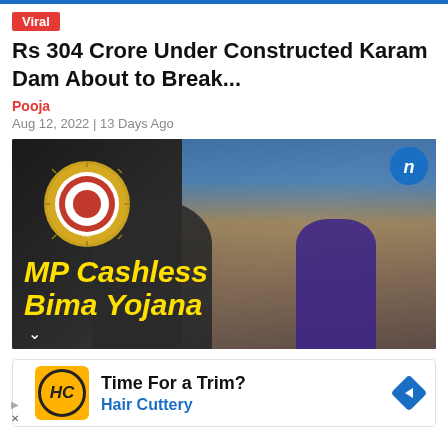Viral
Rs 304 Crore Under Constructed Karam Dam About to Break...
Pooja
Aug 12, 2022 | 13 Days Ago
[Figure (photo): News thumbnail showing MP Cashless Bima Yojana with an office scene of a person being served at a desk; a government seal is visible on the left and the text 'MP Cashless Bima Yojana' appears in yellow bold text at the bottom.]
[Figure (infographic): Advertisement banner: Hair Cuttery ad with HC logo on yellow background, text 'Time For a Trim?' and 'Hair Cuttery' in blue, with a blue diamond navigation arrow on the right.]